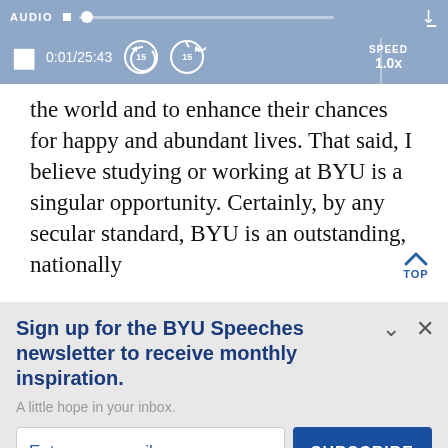[Figure (screenshot): Audio player bar with label AUDIO, track slider, and download button]
[Figure (screenshot): Audio playback controls: pause button, time 0:01/25:43, rewind 15s, forward 15s, SPEED 1.0x]
the world and to enhance their chances for happy and abundant lives. That said, I believe studying or working at BYU is a singular opportunity. Certainly, by any secular standard, BYU is an outstanding, nationally
Sign up for the BYU Speeches newsletter to receive monthly inspiration.
A little hope in your inbox.
Enter your email
SUBSCRIBE